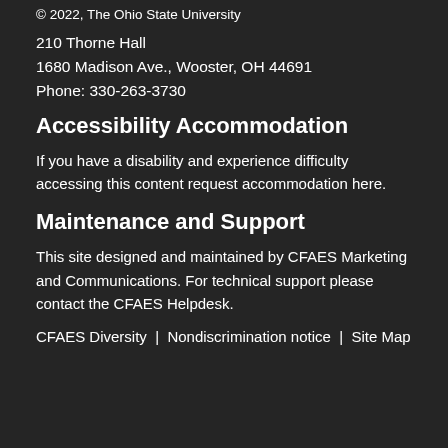© 2022, The Ohio State University
210 Thorne Hall
1680 Madison Ave., Wooster, OH 44691
Phone: 330-263-3730
Accessibility Accommodation
If you have a disability and experience difficulty accessing this content request accommodation here.
Maintenance and Support
This site designed and maintained by CFAES Marketing and Communications. For technical support please contact the CFAES Helpdesk.
CFAES Diversity  |  Nondiscrimination notice  |  Site Map